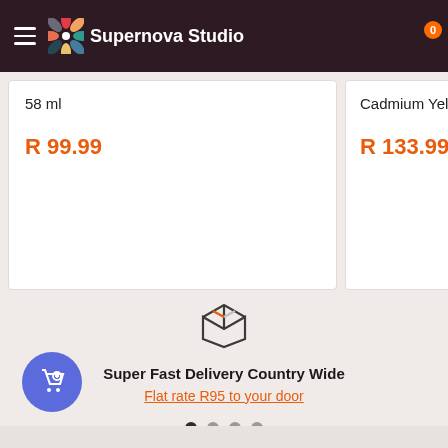Supernova Studio
58 ml
R 99.99
Cadmium Yellow M
R 133.99
[Figure (illustration): Box/package icon representing delivery]
Super Fast Delivery Country Wide
Flat rate R95 to your door
[Figure (illustration): Floating shopping bag with heart icon button (purple circle)]